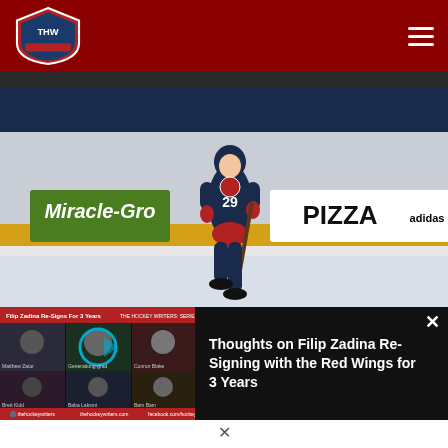THW - The Hockey Writers
[Figure (photo): Columbus Blue Jackets hockey player wearing #29 navy blue jersey skating on ice during a game, with Miracle-Gro and Pizza arena advertisements visible in the background along with players on the bench]
[Figure (screenshot): Video overlay panel showing a YouTube/video embed with multiple participants in a video call, red header bar reading 'Filip Zadina Re-Signs For 3 Years' and 'THE HOCKEY WRITERS: SERIES LINK']
Thoughts on Filip Zadina Re-Signing with the Red Wings for 3 Years
The Maple Leafs' struggles continued amid a three-game…